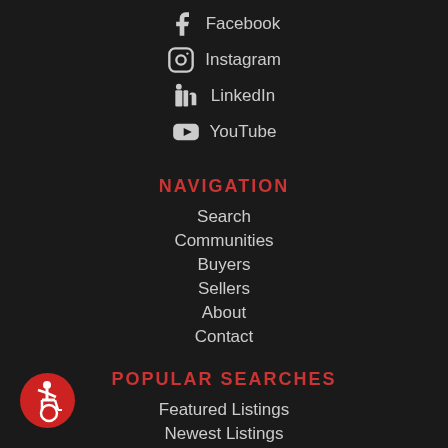Facebook
Instagram
LinkedIn
YouTube
NAVIGATION
Search
Communities
Buyers
Sellers
About
Contact
POPULAR SEARCHES
Featured Listings
Newest Listings
Single Family
[Figure (logo): Accessibility icon — red circle with wheelchair user symbol in white]